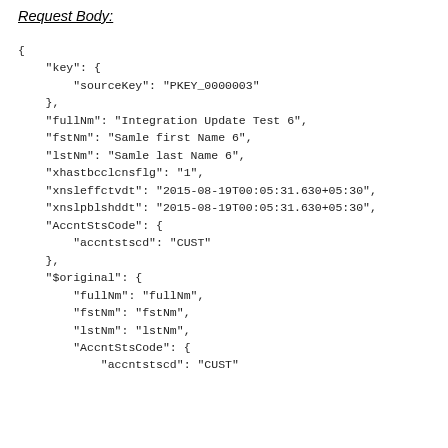Request Body:
{
    "key": {
        "sourceKey": "PKEY_0000003"
    },
    "fullNm": "Integration Update Test 6",
    "fstNm": "Samle first Name 6",
    "lstNm": "Samle last Name 6",
    "xhastbcclcnsflg": "1",
    "xnsleffctvdt": "2015-08-19T00:05:31.630+05:30",
    "xnslpblshddt": "2015-08-19T00:05:31.630+05:30",
    "AccntStsCode": {
        "accntstscd": "CUST"
    },
    "$original": {
        "fullNm": "fullNm",
        "fstNm": "fstNm",
        "lstNm": "lstNm",
        "AccntStsCode": {
            "accntstscd": "CUST"